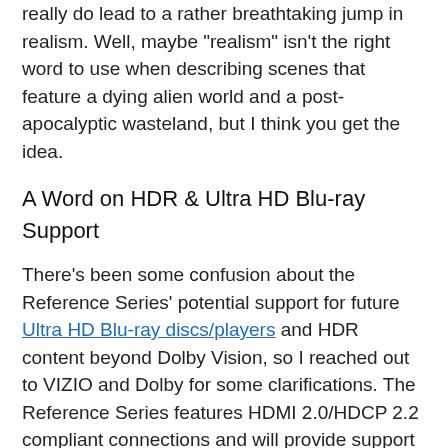really do lead to a rather breathtaking jump in realism. Well, maybe "realism" isn't the right word to use when describing scenes that feature a dying alien world and a post-apocalyptic wasteland, but I think you get the idea.
A Word on HDR & Ultra HD Blu-ray Support
There's been some confusion about the Reference Series' potential support for future Ultra HD Blu-ray discs/players and HDR content beyond Dolby Vision, so I reached out to VIZIO and Dolby for some clarifications. The Reference Series features HDMI 2.0/HDCP 2.2 compliant connections and will provide support for any Dolby Vision HDR content that is released on Ultra HD Blu-ray (the format is an option